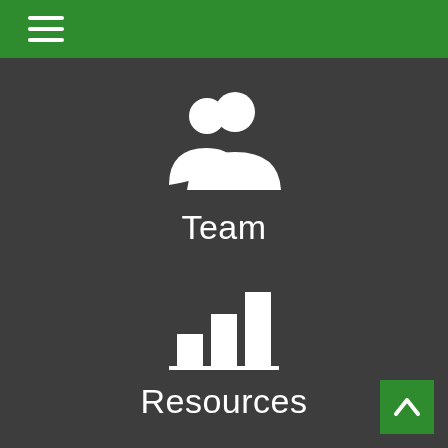[Figure (illustration): Green navigation header bar with hamburger menu icon (three white horizontal lines) on the left]
[Figure (illustration): White team/people icon (two person silhouettes) centered on dark gray background]
Team
[Figure (illustration): White bar chart icon (three ascending bars) centered on dark gray background]
Resources
[Figure (illustration): Green square button with white upward chevron arrow in bottom-right corner]